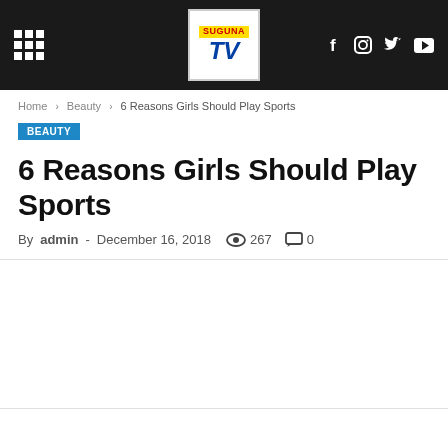Suguna TV — Navigation bar with grid menu, logo, and social icons (Facebook, Instagram, Twitter, YouTube)
Home › Beauty › 6 Reasons Girls Should Play Sports
BEAUTY
6 Reasons Girls Should Play Sports
By admin - December 16, 2018  267  0